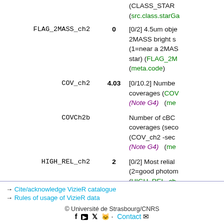(CLASS_STAR... (src.class.starGa...
| Name | Value | Description |
| --- | --- | --- |
| FLAG_2MASS_ch2 | 0 | [0/2] 4.5um obj... 2MASS bright s... (1=near a 2MAS... star) (FLAG_2M... (meta.code) |
| COV_ch2 | 4.03 | [0/10.2] Numbe... coverages (COV... (Note G4)  (me... |
| COVCh2b |  | Number of cBC... coverages (seco... (COV_ch2 -sec... (Note G4)  (me... |
| HIGH_REL_ch2 | 2 | [0/2] Most relial... (2=good photom... (HIGH_REL_ch... (meta.code) |
→ Cite/acknowledge VizieR catalogue
→ Rules of usage of VizieR data
© Université de Strasbourg/CNRS · Contact